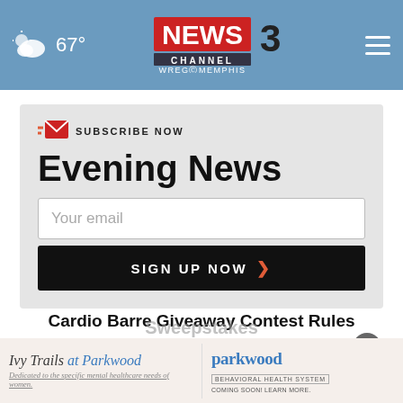67° NEWS CHANNEL 3 WREG MEMPHIS
SUBSCRIBE NOW
Evening News
Your email
SIGN UP NOW
Cardio Barre Giveaway Contest Rules
Sweepstakes
[Figure (logo): Ivy Trails at Parkwood / Parkwood Behavioral Health System advertisement banner]
Ivy Trails at Parkwood - Dedicated to the specific mental healthcare needs of women. | parkwood BEHAVIORAL HEALTH SYSTEM COMING SOON! LEARN MORE.